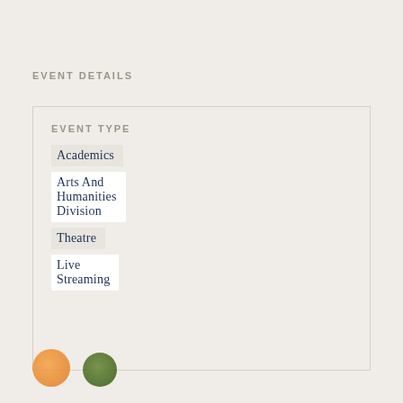EVENT DETAILS
EVENT TYPE
Academics
Arts And Humanities Division
Theatre
Live Streaming
[Figure (illustration): Two small circular decorative icons at the bottom left — one orange and one dark green]